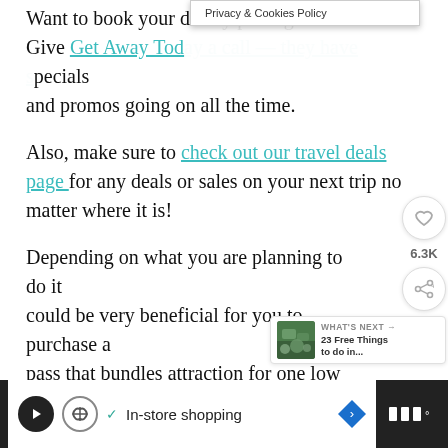Want to book your Disney package? Give Get Away Today a call — they have specials and promos going on all the time.
Also, make sure to check out our travel deals page for any deals or sales on your next trip no matter where it is!
Depending on what you are planning to do it could be very beneficial for you to purchase a pass that bundles attraction for one low price. Here are the best ones for Tennessee:
Smoky Mountain Sightseeing Pass
[Figure (screenshot): Privacy & Cookies Policy popup overlay bar]
[Figure (infographic): Social sidebar with heart/like button showing 6.3K count and share button]
[Figure (infographic): What's Next widget showing '23 Free Things to do in...' with thumbnail]
[Figure (infographic): Bottom advertisement bar with play button, In-store shopping text, and navigation icon]